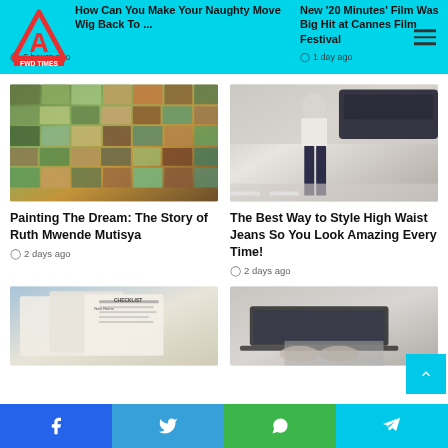FWD TIMES
How Can You Make Your Naughty Move Wig Back To …
6 hours ago
New '20 Minutes' Film Was Big Hit at Cannes Film Festival
1 day ago
[Figure (photo): Colorful painted tile artwork, close-up]
Painting The Dream: The Story of Ruth Mwende Mutisya
2 days ago
[Figure (photo): Woman in white blouse and high waist dark jeans on street]
The Best Way to Style High Waist Jeans So You Look Amazing Every Time!
2 days ago
[Figure (photo): New home checklist documents]
[Figure (photo): Person working on laptop]
Facebook  Twitter  WhatsApp  Telegram